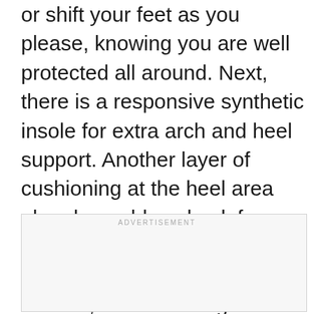or shift your feet as you please, knowing you are well protected all around. Next, there is a responsive synthetic insole for extra arch and heel support. Another layer of cushioning at the heel area absorbs sudden shock for a smooth heel-to-toe transition. Retailing in seven versatile colours, these walking shoes will fit your modern lifestyle all year round.
[Figure (other): Advertisement placeholder box with label ADVERTISEMENT]